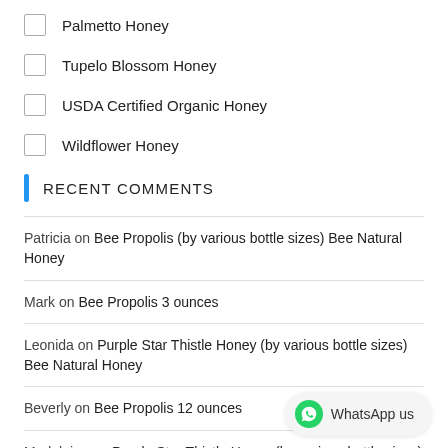Palmetto Honey
Tupelo Blossom Honey
USDA Certified Organic Honey
Wildflower Honey
Recent Comments
Patricia on Bee Propolis (by various bottle sizes) Bee Natural Honey
Mark on Bee Propolis 3 ounces
Leonida on Purple Star Thistle Honey (by various bottle sizes) Bee Natural Honey
Beverly on Bee Propolis 12 ounces
Madelaine on Purple Star Thistle Honey (by various bottle sizes) Bee Natural Honey
[Figure (other): WhatsApp us button with green WhatsApp icon]